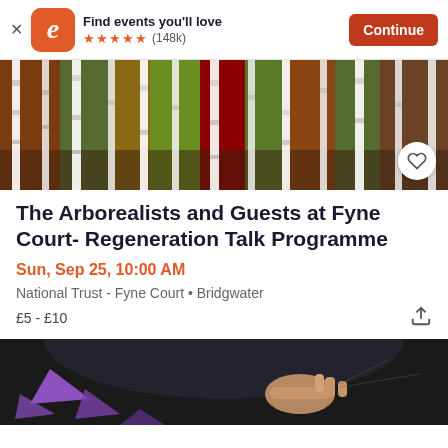[Figure (screenshot): App banner for Eventbrite showing logo, 'Find events you'll love', 5 star rating (148k), and Continue button]
[Figure (photo): Hero image of birch trees with colorful autumn foliage background]
The Arborealists and Guests at Fyne Court- Regeneration Talk Programme
Sun, Sep 25, 10:00 AM
National Trust - Fyne Court • Bridgwater
£5 - £10
[Figure (photo): Dark stage photo with purple geometric triangle shapes and a hand pointing, likely from a presentation or performance]